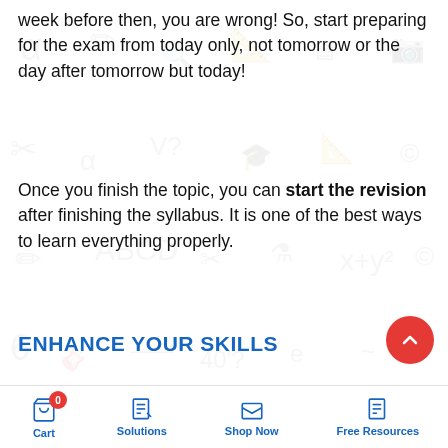week before then, you are wrong! So, start preparing for the exam from today only, not tomorrow or the day after tomorrow but today!
Once you finish the topic, you can start the revision after finishing the syllabus. It is one of the best ways to learn everything properly.
ENHANCE YOUR SKILLS
To prepare for the CUCET, you need to improve your skills because that will help you clear the exam. But here will
Cart 0 | Solutions | Shop Now | Free Resources